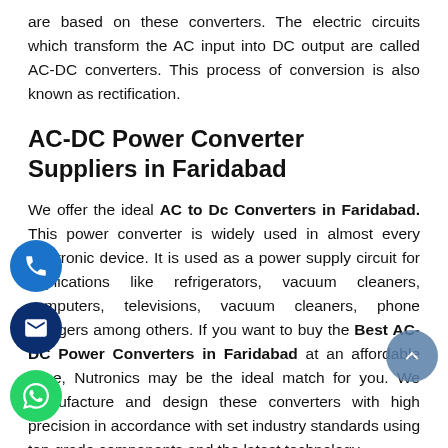are based on these converters. The electric circuits which transform the AC input into DC output are called AC-DC converters. This process of conversion is also known as rectification.
AC-DC Power Converter Suppliers in Faridabad
We offer the ideal AC to Dc Converters in Faridabad. This power converter is widely used in almost every electronic device. It is used as a power supply circuit for applications like refrigerators, vacuum cleaners, computers, televisions, vacuum cleaners, phone chargers among others. If you want to buy the Best AC-DC Power Converters in Faridabad at an affordable price, Nutronics may be the ideal match for you. We manufacture and design these converters with high precision in accordance with set industry standards using top-grade components and the latest technology.